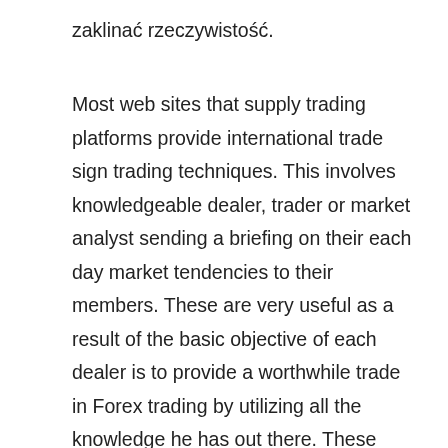zaklinać rzeczywistość.
Most web sites that supply trading platforms provide international trade sign trading techniques. This involves knowledgeable dealer, trader or market analyst sending a briefing on their each day market tendencies to their members. These are very useful as a result of the basic objective of each dealer is to provide a worthwhile trade in Forex trading by utilizing all the knowledge he has out there. These foreign exchange sign companies cost different costs and provide companies accordingly. While some of them will send an e-mail, others will allow you to replace by way of a forex alert by way of your cell phone. Actual-time charts are another